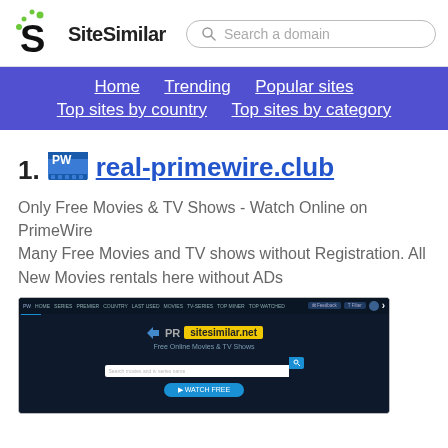SiteSimilar - Search a domain
Home | Trending | Popular sites | Top sites by country | Top sites by category
1. real-primewire.club
Only Free Movies & TV Shows - Watch Online on PrimeWire
Many Free Movies and TV shows without Registration. All New Movies rentals here without ADs
[Figure (screenshot): Screenshot of real-primewire.club website showing a dark-themed movie streaming interface with PrimewWire logo, search bar, and sitesimilar.net watermark]